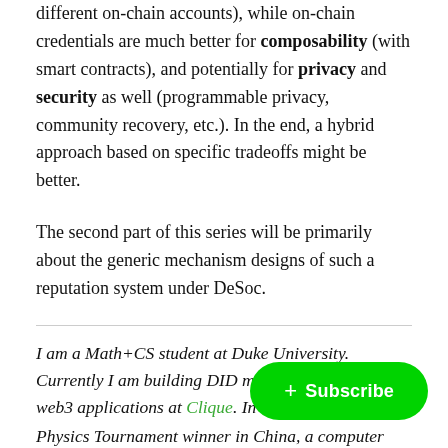different on-chain accounts), while on-chain credentials are much better for composability (with smart contracts), and potentially for privacy and security as well (programmable privacy, community recovery, etc.). In the end, a hybrid approach based on specific tradeoffs might be better.
The second part of this series will be primarily about the generic mechanism designs of such a reputation system under DeSoc.
I am a Math+CS student at Duke University. Currently I am building DID middlewares connect[ing] web3 applications at Clique. In the past, [a] Physics Tournament winner in China, a computer vision...